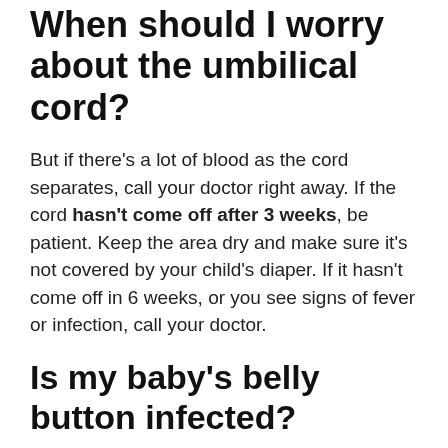When should I worry about the umbilical cord?
But if there's a lot of blood as the cord separates, call your doctor right away. If the cord hasn't come off after 3 weeks, be patient. Keep the area dry and make sure it's not covered by your child's diaper. If it hasn't come off in 6 weeks, or you see signs of fever or infection, call your doctor.
Is my baby's belly button infected?
Signs of an Infected Umbilical Cord Stump
A smelly yellow discharge from the stump area. A reddening of the skin around the